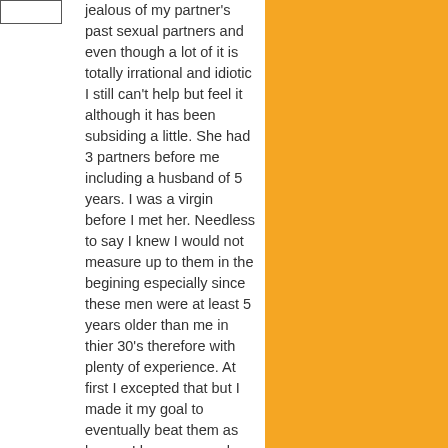jealous of my partner's past sexual partners and even though a lot of it is totally irrational and idiotic I still can't help but feel it although it has been subsiding a little. She had 3 partners before me including a husband of 5 years. I was a virgin before I met her. Needless to say I knew I would not measure up to them in the begining especially since these men were at least 5 years older than me in thier 30's therefore with plenty of experience. At first I excepted that but I made it my goal to eventually beat them as lovers. I have come a long way (no